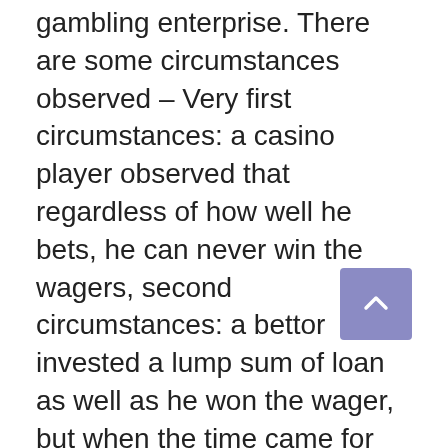gambling enterprise. There are some circumstances observed – Very first circumstances: a casino player observed that regardless of how well he bets, he can never win the wagers, second circumstances: a bettor invested a lump sum of loan as well as he won the wager, but when the time came for him to obtain is profits … the casino site went away over night. Currently I think you understand the importance of picking a reputable casino.
If you can not find anybody who can recommend you one, then seek a gambling establishment review site